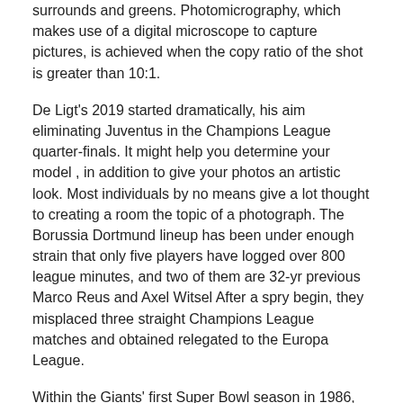surrounds and greens. Photomicrography, which makes use of a digital microscope to capture pictures, is achieved when the copy ratio of the shot is greater than 10:1.
De Ligt's 2019 started dramatically, his aim eliminating Juventus in the Champions League quarter-finals. It might help you determine your model , in addition to give your photos an artistic look. Most individuals by no means give a lot thought to creating a room the topic of a photograph. The Borussia Dortmund lineup has been under enough strain that only five players have logged over 800 league minutes, and two of them are 32-yr previous Marco Reus and Axel Witsel After a spry begin, they misplaced three straight Champions League matches and obtained relegated to the Europa League.
Within the Giants' first Super Bowl season in 1986, LT turned the first defensive participant to be named league MVP in 15 years. Last seen at Kennedy Center in spring 2017 with Jason Moran in Muldrow Meets Mingus,â€ the Grammy nominee returns to perform her multi-genre blend of jazz, R&B, Hip Hop, electronica, rock, and funk within the intimate setting